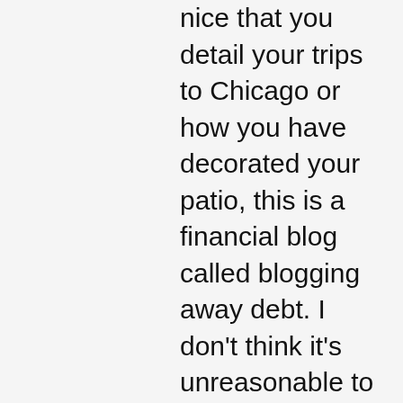nice that you detail your trips to Chicago or how you have decorated your patio, this is a financial blog called blogging away debt. I don't think it's unreasonable to expect you to provide debt updates or expect you to provide something that resembles the budget you have been using since you have stated that you entered storm mode as a bare bones budget. The fact that in your last post you got hit repeatedly (not by me by the way since it you go back you'll notice I literally asked someone where they got the idea you had a $1500 a month budget.) is literally because you keep giving people incomplete data